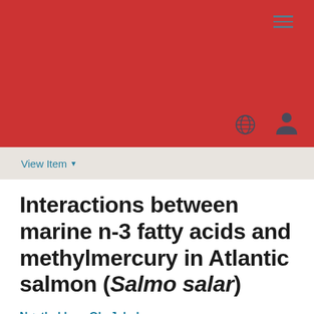[Figure (other): Red banner header with hamburger menu icon (three horizontal lines) in top right, globe icon and person/user icon in bottom right of banner]
View Item ▾
Interactions between marine n-3 fatty acids and methylmercury in Atlantic salmon (Salmo salar)
Nøstbakken, Ole Jakob